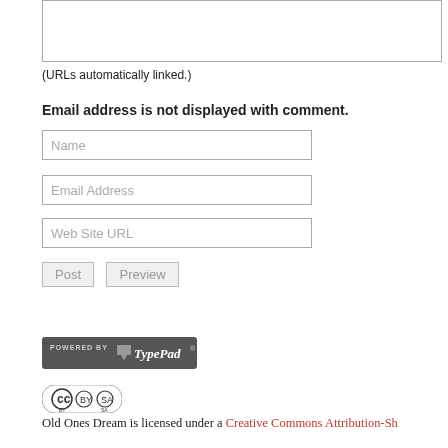(URLs automatically linked.)
Email address is not displayed with comment.
Name
Email Address
Web Site URL
Post
Preview
[Figure (logo): POWERED BY TypePad badge/logo on dark grey background]
[Figure (logo): Creative Commons BY-SA license badge]
Old Ones Dream is licensed under a Creative Commons Attribution-Sh